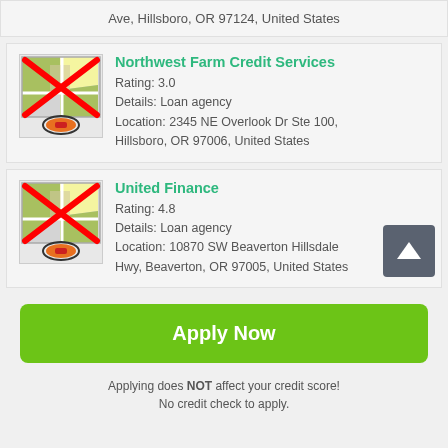Ave, Hillsboro, OR 97124, United States
Northwest Farm Credit Services
Rating: 3.0
Details: Loan agency
Location: 2345 NE Overlook Dr Ste 100, Hillsboro, OR 97006, United States
United Finance
Rating: 4.8
Details: Loan agency
Location: 10870 SW Beaverton Hillsdale Hwy, Beaverton, OR 97005, United States
Apply Now
Applying does NOT affect your credit score!
No credit check to apply.